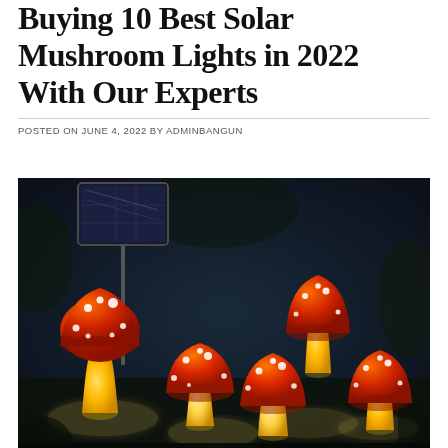Buying 10 Best Solar Mushroom Lights in 2022 With Our Experts
POSTED ON JUNE 4, 2022 BY ADMINBANGUN
[Figure (photo): Photo of glowing red mushroom solar garden lights with white dots on their caps, yellow-orange stems lit from within, standing in a garden at night. A black solar panel on a stake is visible in the upper left.]